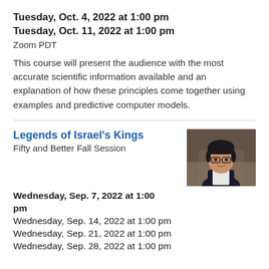Tuesday, Oct. 4, 2022 at 1:00 pm
Tuesday, Oct. 11, 2022 at 1:00 pm
Zoom PDT
This course will present the audience with the most accurate scientific information available and an explanation of how these principles come together using examples and predictive computer models.
Legends of Israel's Kings
Fifty and Better Fall Session
[Figure (photo): Portrait photo of a person with glasses, smiling, wearing a dark jacket, shown from shoulders up]
Wednesday, Sep. 7, 2022 at 1:00 pm
Wednesday, Sep. 14, 2022 at 1:00 pm
Wednesday, Sep. 21, 2022 at 1:00 pm
Wednesday, Sep. 28, 2022 at 1:00 pm